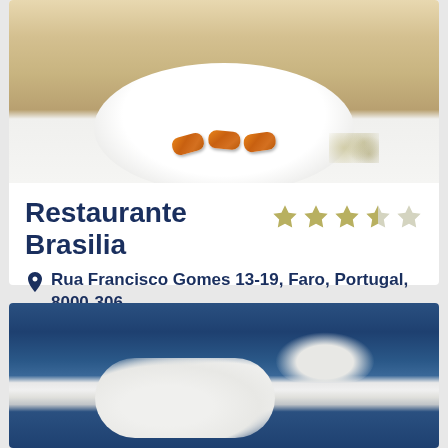[Figure (photo): Food photo showing fried croquettes on a white plate with sauce drizzle, on a wooden surface background]
Restaurante Brasilia
Rua Francisco Gomes 13-19, Faro, Portugal, 8000-306
Since it opened its shutters in 1960, Restaurante Brasilia has been pleasing its patrons with its delicious home cooked food. The fish dishes from...
[Figure (photo): Blue sky with white clouds photograph]